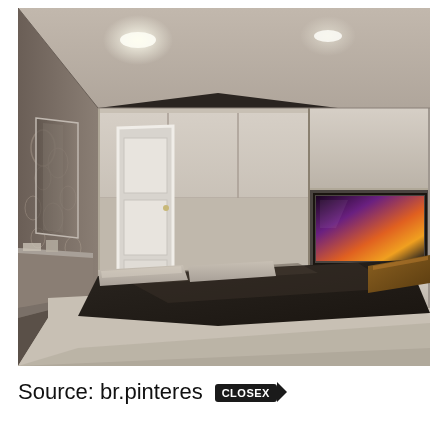[Figure (photo): 3D rendering of a modern bedroom interior with beige/taupe built-in wardrobe cabinets covering the back wall, a flat-screen TV mounted in a niche in the cabinet unit, a bed with dark brown/charcoal bedding in the foreground, a white door on the left side, patterned wallpaper on the left wall, and recessed ceiling lighting.]
Source: br.pinteres... CLOSE X